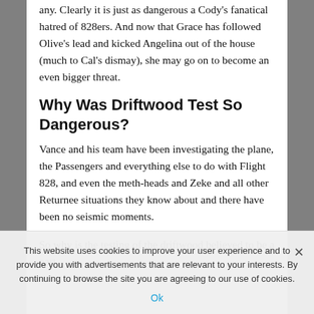any. Clearly it is just as dangerous a Cody's fanatical hatred of 828ers. And now that Grace has followed Olive's lead and kicked Angelina out of the house (much to Cal's dismay), she may go on to become an even bigger threat.
Why Was Driftwood Test So Dangerous?
Vance and his team have been investigating the plane, the Passengers and everything else to do with Flight 828, and even the meth-heads and Zeke and all other Returnee situations they know about and there have been no seismic moments.
So why is the testing of the driftwood believed to be a part
This website uses cookies to improve your user experience and to provide you with advertisements that are relevant to your interests. By continuing to browse the site you are agreeing to our use of cookies.
Ok